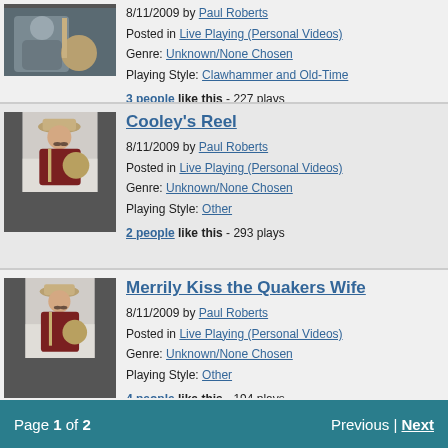[Figure (photo): Thumbnail of a man playing banjo wearing a gray shirt]
8/11/2009 by Paul Roberts
Posted in Live Playing (Personal Videos)
Genre: Unknown/None Chosen
Playing Style: Clawhammer and Old-Time
3 people like this - 227 plays
[Figure (photo): Thumbnail of a man in a hat and dark shirt playing banjo]
Cooley's Reel
8/11/2009 by Paul Roberts
Posted in Live Playing (Personal Videos)
Genre: Unknown/None Chosen
Playing Style: Other
2 people like this - 293 plays
[Figure (photo): Thumbnail of a man in a hat and dark shirt playing banjo]
Merrily Kiss the Quakers Wife
8/11/2009 by Paul Roberts
Posted in Live Playing (Personal Videos)
Genre: Unknown/None Chosen
Playing Style: Other
4 people like this - 194 plays
Page 1 of 2   Previous | Next